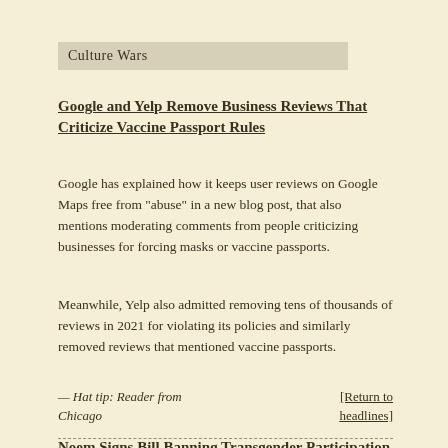Culture Wars
Google and Yelp Remove Business Reviews That Criticize Vaccine Passport Rules
Google has explained how it keeps user reviews on Google Maps free from “abuse” in a new blog post, that also mentions moderating comments from people criticizing businesses for forcing masks or vaccine passports.
Meanwhile, Yelp also admitted removing tens of thousands of reviews in 2021 for violating its policies and similarly removed reviews that mentioned vaccine passports.
— Hat tip: Reader from Chicago    [Return to headlines]
Noem Signs Bill Banning Transgender Participation in